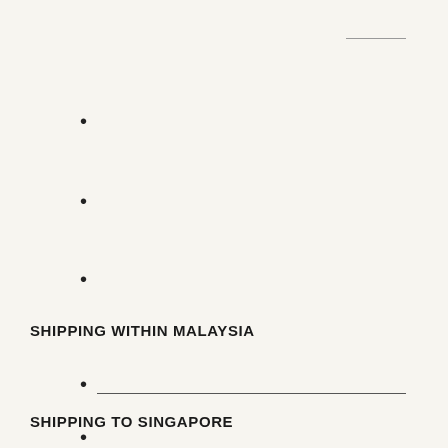SHIPPING WITHIN MALAYSIA
SHIPPING TO SINGAPORE